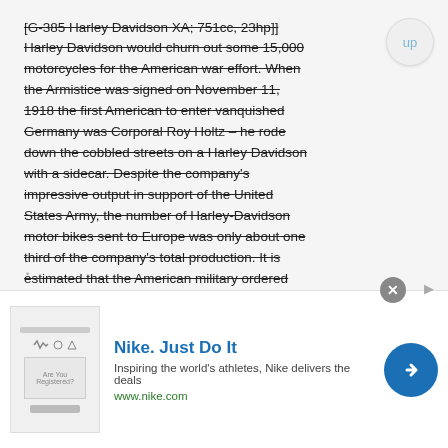[G-385 Harley Davidson XA; 751cc, 23hp]] Harley Davidson would churn out some 15,000 motorcycles for the American war effort. When the Armistice was signed on November 11, 1918 the first American to enter vanquished Germany was Corporal Roy Holtz – he rode down the cobbled streets on a Harley Davidson with a sidecar. Despite the company's impressive output in support of the United States Army, the number of Harley-Davidson motor bikes sent to Europe was only about one third of the company's total production. It is estimated that the American military ordered over 80,000 motorcycles and many manufacturers smaller than Harley Davidson, most notably Indian Motorcycle, overhauled their entire facility to produce
[Figure (screenshot): Advertisement banner for Nike. Just Do It with logo image, tagline 'Inspiring the world's athletes, Nike delivers the deals', URL www.nike.com, and a blue arrow button.]